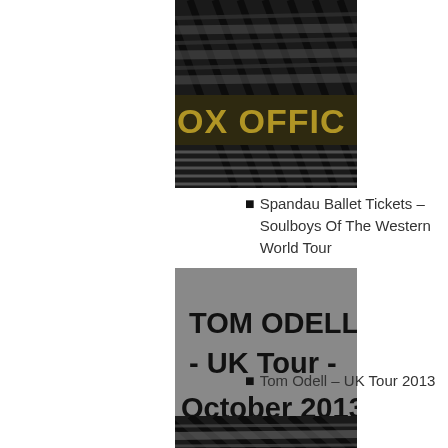[Figure (photo): Photo of a box office sign with metal gate/bars (partial, shows 'OX OFFIC')]
Spandau Ballet Tickets – Soulboys Of The Western World Tour
[Figure (photo): Gray promotional image with text: TOM ODELL - UK Tour - October 2013]
Tom Odell – UK Tour 2013
[Figure (photo): Partial photo of metal gate/bars (bottom of page, cropped)]